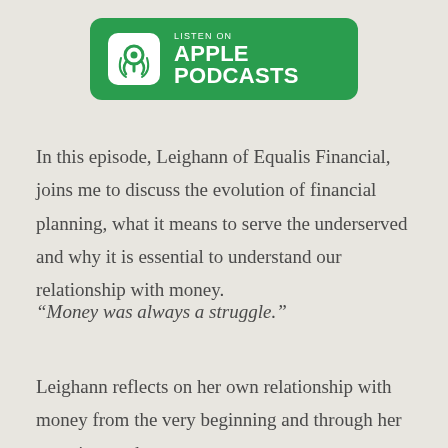[Figure (logo): Apple Podcasts badge — green rounded rectangle with podcast icon and text 'LISTEN ON APPLE PODCASTS' in white]
In this episode, Leighann of Equalis Financial, joins me to discuss the evolution of financial planning, what it means to serve the underserved and why it is essential to understand our relationship with money.
“Money was always a struggle.”
Leighann reflects on her own relationship with money from the very beginning and through her experience, she